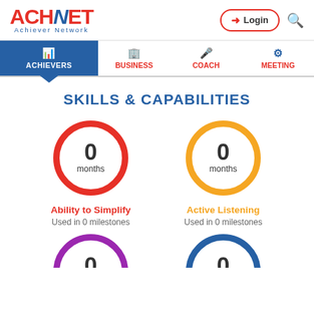[Figure (logo): ACHNET Achiever Network logo with red and blue text]
Login | Search icon
ACHIEVERS | BUSINESS | COACH | MEETING navigation bar
SKILLS & CAPABILITIES
[Figure (infographic): Red circle ring with 0 months]
Ability to Simplify
Used in 0 milestones
[Figure (infographic): Orange circle ring with 0 months]
Active Listening
Used in 0 milestones
[Figure (infographic): Purple circle ring with 0 (partially visible)]
[Figure (infographic): Blue circle ring with 0 (partially visible)]